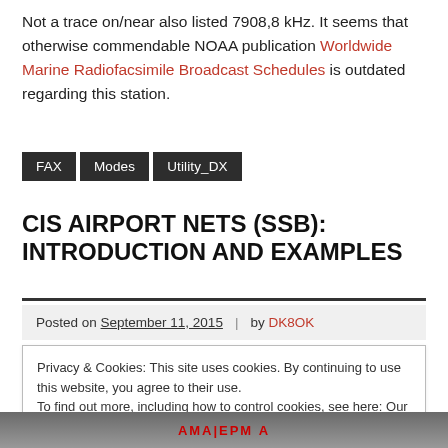Not a trace on/near also listed 7908,8 kHz. It seems that otherwise commendable NOAA publication Worldwide Marine Radiofacsimile Broadcast Schedules is outdated regarding this station.
FAX
Modes
Utility_DX
CIS AIRPORT NETS (SSB): INTRODUCTION AND EXAMPLES
Posted on September 11, 2015 | by DK8OK
Privacy & Cookies: This site uses cookies. By continuing to use this website, you agree to their use.
To find out more, including how to control cookies, see here: Our Cookie Policy
[Figure (photo): Bottom strip showing a building with Cyrillic text АЭРМА visible in red lettering]